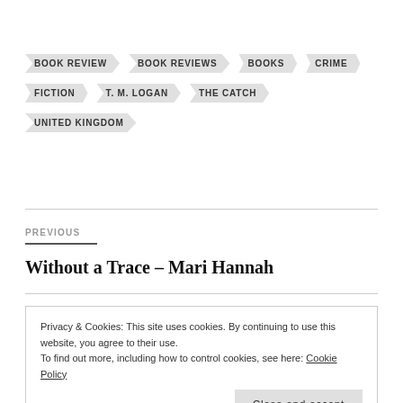BOOK REVIEW
BOOK REVIEWS
BOOKS
CRIME
FICTION
T. M. LOGAN
THE CATCH
UNITED KINGDOM
PREVIOUS
Without a Trace – Mari Hannah
Privacy & Cookies: This site uses cookies. By continuing to use this website, you agree to their use.
To find out more, including how to control cookies, see here: Cookie Policy
Close and accept